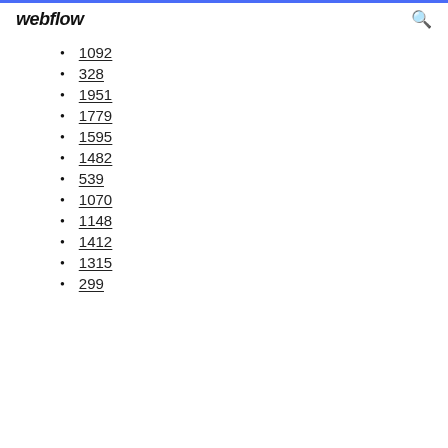webflow
1092
328
1951
1779
1595
1482
539
1070
1148
1412
1315
299